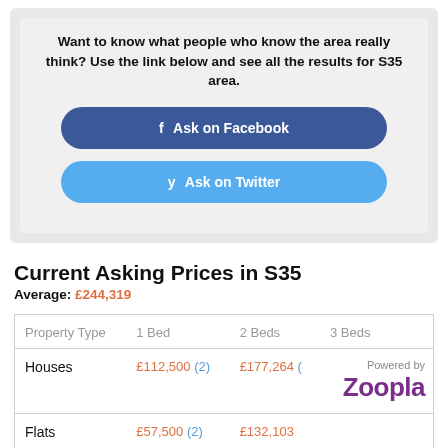Want to know what people who know the area really think? Use the link below and see all the results for S35 area.
f Ask on Facebook
Ask on Twitter
Current Asking Prices in S35
Average: £244,319
| Property Type | 1 Bed | 2 Beds | 3 Beds |
| --- | --- | --- | --- |
| Houses | £112,500 (2) | £177,264 ( | Powered by Zoopla |
| Flats | £57,500 (2) | £132,103 |  |